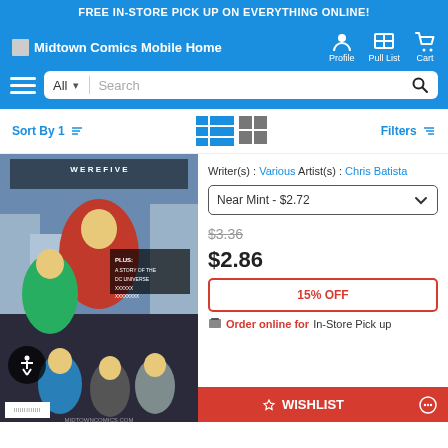FREE IN-STORE PICK UP ON EVERYTHING ONLINE!
Midtown Comics Mobile Home — Profile, Pull List, Cart
Sort By | Filters
[Figure (photo): Comic book cover showing superhero characters in action, DC Universe theme, with text FIVE and Plus A Story of the DC Universe]
Writer(s): Various  Artist(s): Chris Batista
Near Mint - $2.72 (dropdown)
$3.36 (strikethrough original price)
$2.86 (sale price)
15% OFF
Order online for In-Store Pick up
WISHLIST